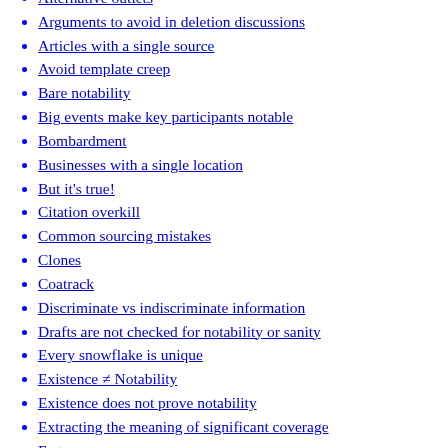Alternative outlets
Arguments to avoid in deletion discussions
Articles with a single source
Avoid template creep
Bare notability
Big events make key participants notable
Bombardment
Businesses with a single location
But it's true!
Citation overkill
Common sourcing mistakes
Clones
Coatrack
Discriminate vs indiscriminate information
Drafts are not checked for notability or sanity
Every snowflake is unique
Existence ≠ Notability
Existence does not prove notability
Extracting the meaning of significant coverage
Fart
Google searches and numbers
High Schools
Inclusion is not an indicator of notability
Independent sources
Inherent notability